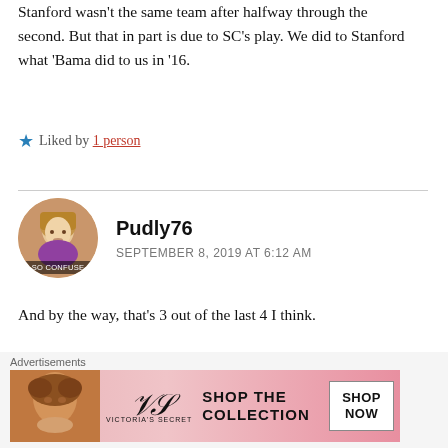Stanford wasn't the same team after halfway through the second. But that in part is due to SC's play. We did to Stanford what 'Bama did to us in '16.
Liked by 1 person
Pudly76
SEPTEMBER 8, 2019 AT 6:12 AM
And by the way, that's 3 out of the last 4 I think.
Liked by 3 people
[Figure (other): Victoria's Secret advertisement banner with model, VS logo, 'SHOP THE COLLECTION' text, and 'SHOP NOW' button]